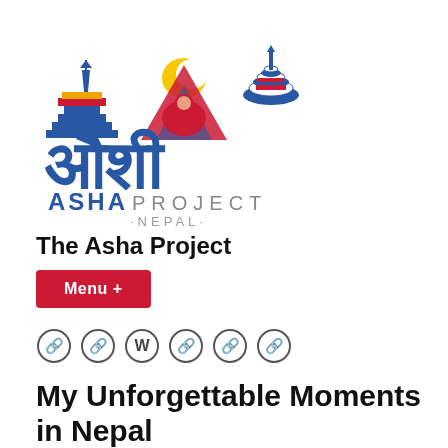[Figure (logo): Asha Project Nepal logo with Devanagari script, temple, mountains, sun/moon symbol, and striped stupa. Text reads ASHA PROJECT · NEPAL ·]
The Asha Project
Menu +
[Figure (infographic): Row of six social/link icons: five chain-link icons and one WordPress circle icon]
My Unforgettable Moments in Nepal